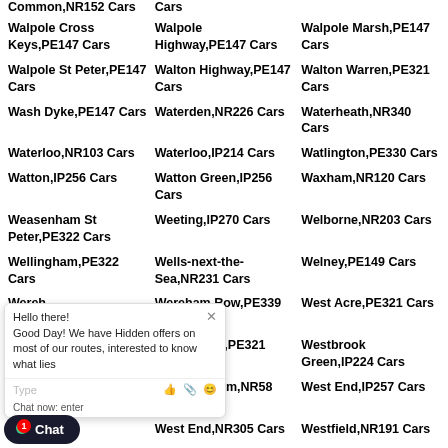Common,NR152 Cars | [cars] | Cars
Walpole Cross Keys,PE147 Cars
Walpole Highway,PE147 Cars
Walpole Marsh,PE147 Cars
Walpole St Peter,PE147 Cars
Walton Highway,PE147 Cars
Walton Warren,PE321 Cars
Wash Dyke,PE147 Cars
Waterden,NR226 Cars
Waterheath,NR340 Cars
Waterloo,NR103 Cars
Waterloo,IP214 Cars
Watlington,PE330 Cars
Watton,IP256 Cars
Watton Green,IP256 Cars
Waxham,NR120 Cars
Weasenham St Peter,PE322 Cars
Weeting,IP270 Cars
Welborne,NR203 Cars
Wellingham,PE322 Cars
Wells-next-the-Sea,NR231 Cars
Welney,PE149 Cars
Wereham,PE339 Cars
Wereham Row,PE339 Cars
West Acre,PE321 Cars
West Bilney,PE321 Cars
Westbrook Green,IP224 Cars
West Earlham,NR58 Cars
West End,IP257 Cars
West End,NR305 Cars
Westfield,NR191 Cars
West Harling,NR162 Cars
West Head,PE343 Cars
Winton Street,NR105 Cars